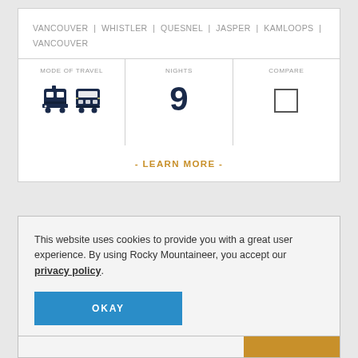VANCOUVER | WHISTLER | QUESNEL | JASPER | KAMLOOPS | VANCOUVER
MODE OF TRAVEL
[Figure (illustration): Train and bus transport icons in dark navy blue]
NIGHTS
9
COMPARE
- LEARN MORE -
This website uses cookies to provide you with a great user experience. By using Rocky Mountaineer, you accept our privacy policy.
OKAY